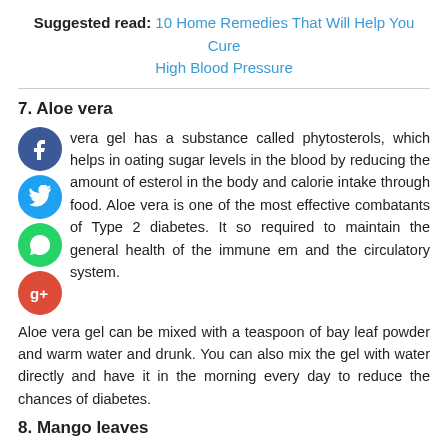Suggested read: 10 Home Remedies That Will Help You Cure High Blood Pressure
7. Aloe vera
vera gel has a substance called phytosterols, which helps in oating sugar levels in the blood by reducing the amount of esterol in the body and calorie intake through food. Aloe vera is one of the most effective combatants of Type 2 diabetes. It so required to maintain the general health of the immune em and the circulatory system.
Aloe vera gel can be mixed with a teaspoon of bay leaf powder and warm water and drunk. You can also mix the gel with water directly and have it in the morning every day to reduce the chances of diabetes.
8. Mango leaves